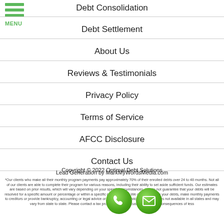Debt Consolidation
Debt Settlement
About Us
Reviews & Testimonials
Privacy Policy
Terms of Service
AFCC Disclosure
Contact Us
Copyright © 2022 Optimal Debt Solutions
Lead Generation by MarkMyWordsMedia.com
*Our clients who make all their monthly program payments pay approximately 70% of their enrolled debts over 24 to 48 months. Not all of our clients are able to complete their program for various reasons, including their ability to set aside sufficient funds. Our estimates are based on prior results, which will vary depending on your specific circumstances. We do not guarantee that your debts will be resolved for a specific amount or percentage or within a specific period of time. We do not assume your debts, make monthly payments to creditors or provide bankruptcy, accounting or legal advice or credit repair services. Our service is not available in all states and may vary from state to state. Please contact a tax professional to discuss potential tax consequences of less